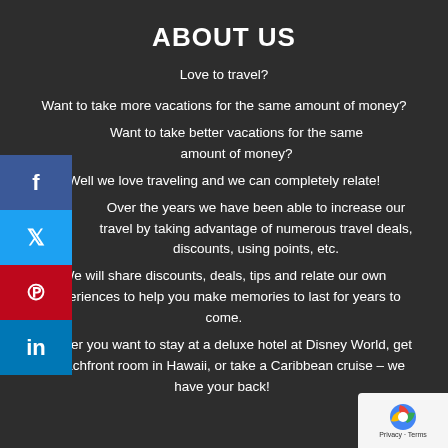ABOUT US
Love to travel?
Want to take more vacations for the same amount of money?
Want to take better vacations for the same amount of money?
Well we love traveling and we can completely relate!
Over the years we have been able to increase our travel by taking advantage of numerous travel deals, discounts, using points, etc.
We will share discounts, deals, tips and relate our own experiences to help you make memories to last for years to come.
Whether you want to stay at a deluxe hotel at Disney World, get a beachfront room in Hawaii, or take a Caribbean cruise – we have your back!